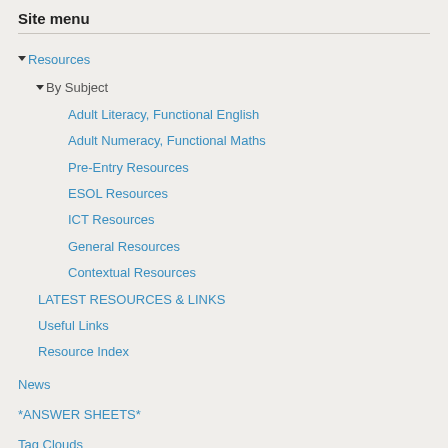Site menu
▼ Resources
▼ By Subject
Adult Literacy, Functional English
Adult Numeracy, Functional Maths
Pre-Entry Resources
ESOL Resources
ICT Resources
General Resources
Contextual Resources
LATEST RESOURCES & LINKS
Useful Links
Resource Index
News
*ANSWER SHEETS*
Tag Clouds
RECENT CHANGES
▼ About
FAQ / Help